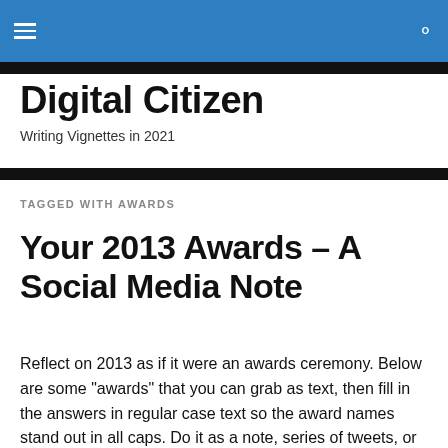≡  🔍
Digital Citizen
Writing Vignettes in 2021
TAGGED WITH AWARDS
Your 2013 Awards – A Social Media Note
Reflect on 2013 as if it were an awards ceremony. Below are some "awards" that you can grab as text, then fill in the answers in regular case text so the award names stand out in all caps. Do it as a note, series of tweets, or something to share. Leave out and add what you want to